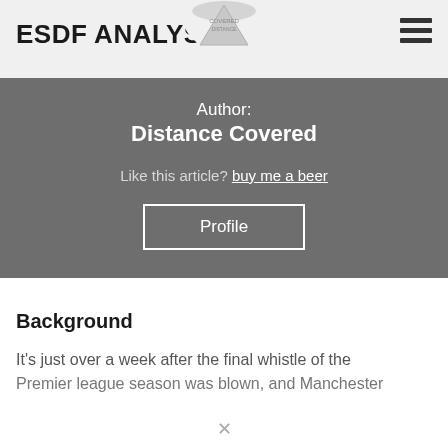ESDF ANALYSIS
[Figure (logo): Distance Covered logo — circular emblem partially visible at top center]
Author:
Distance Covered
Like this article? buy me a beer
Profile
Background
It's just over a week after the final whistle of the Premier league season was blown, and Manchester...